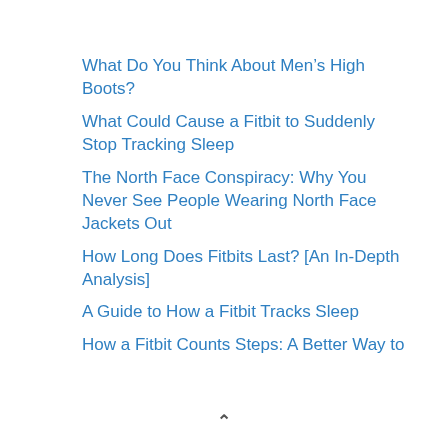What Do You Think About Men’s High Boots?
What Could Cause a Fitbit to Suddenly Stop Tracking Sleep
The North Face Conspiracy: Why You Never See People Wearing North Face Jackets Out
How Long Does Fitbits Last? [An In-Depth Analysis]
A Guide to How a Fitbit Tracks Sleep
How a Fitbit Counts Steps: A Better Way to